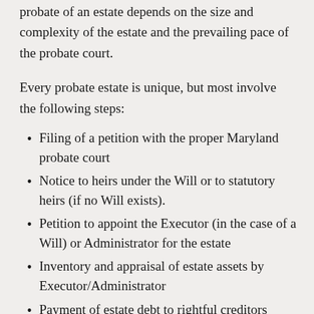probate of an estate depends on the size and complexity of the estate and the prevailing pace of the probate court.
Every probate estate is unique, but most involve the following steps:
Filing of a petition with the proper Maryland probate court
Notice to heirs under the Will or to statutory heirs (if no Will exists).
Petition to appoint the Executor (in the case of a Will) or Administrator for the estate
Inventory and appraisal of estate assets by Executor/Administrator
Payment of estate debt to rightful creditors
Sale of estate assets